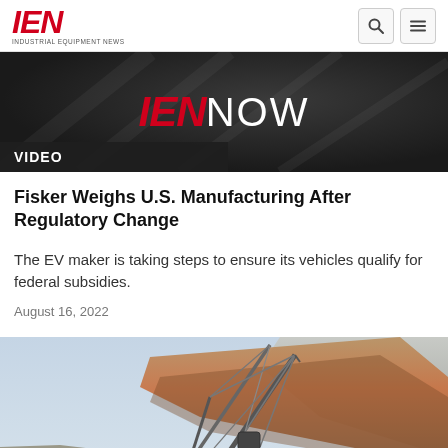IEN INDUSTRIAL EQUIPMENT NEWS
[Figure (screenshot): IEN NOW video banner with dark background and red IEN logo with white NOW text, VIDEO label overlay]
Fisker Weighs U.S. Manufacturing After Regulatory Change
The EV maker is taking steps to ensure its vehicles qualify for federal subsidies.
August 16, 2022
[Figure (photo): Mining site with a large dragline crane excavator against a backdrop of rocky terrain with red and brown layered cliffs]